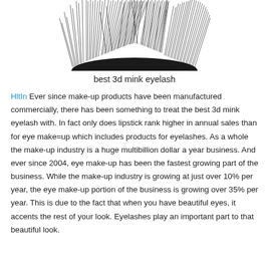[Figure (photo): Close-up black and white photo of a fluffy 3D mink eyelash, showing the top portion with dense spiky fibers fanning outward]
best 3d mink eyelash
HltIn Ever since make-up products have been manufactured commercially, there has been something to treat the best 3d mink eyelash with. In fact only does lipstick rank higher in annual sales than for eye make=up which includes products for eyelashes. As a whole the make-up industry is a huge multibillion dollar a year business. And ever since 2004, eye make-up has been the fastest growing part of the business. While the make-up industry is growing at just over 10% per year, the eye make-up portion of the business is growing over 35% per year. This is due to the fact that when you have beautiful eyes, it accents the rest of your look. Eyelashes play an important part to that beautiful look.